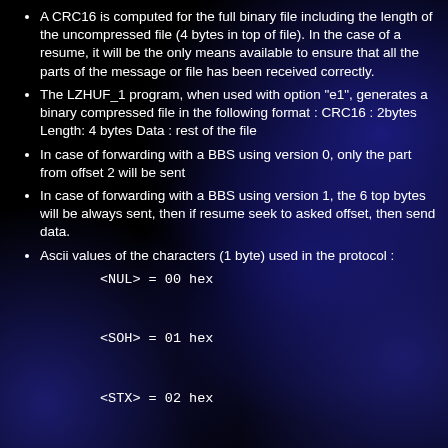A CRC16 is computed for the full binary file including the length of the uncompressed file (4 bytes in top of file). In the case of a resume, it will be the only means available to ensure that all the parts of the message or file has been received correctly.
The LZHUF_1 program, when used with option "e1", generates a binary compressed file in the following format : CRC16 : 2bytes Length: 4 bytes Data : rest of the file
In case of forwarding with a BBS using version 0, only the part from offset 2 will be sent
In case of forwarding with a BBS using version 1, the 6 top bytes will be always sent, then if resume seek to asked offset, then send data.
Ascii values of the characters (1 byte) used in the protocol :
<NUL> = 00 hex
<SOH> = 01 hex
<STX> = 02 hex
<EOT> = 04 hex
Comments will be welcome.